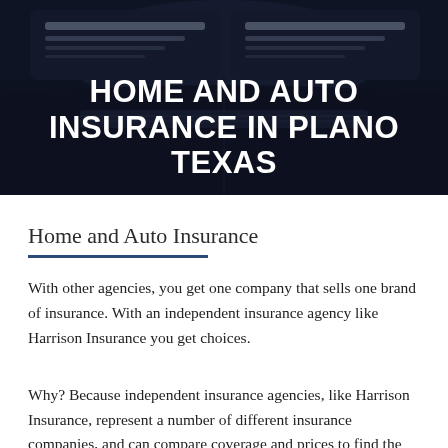[Figure (photo): Dark close-up photo of a car headlight/front end against a dark background, used as hero image backdrop]
HOME AND AUTO INSURANCE IN PLANO TEXAS
Home and Auto Insurance
With other agencies, you get one company that sells one brand of insurance. With an independent insurance agency like Harrison Insurance you get choices.
Why? Because independent insurance agencies, like Harrison Insurance, represent a number of different insurance companies, and can compare coverage and prices to find the best possible value for your individual